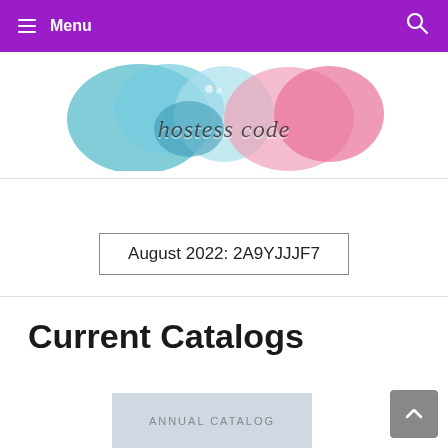Menu
[Figure (illustration): Hostess code banner image with colorful ink blobs (teal, blue, pink) and the text 'hostess code' in stylized font]
August 2022: 2A9YJJJF7
Current Catalogs
[Figure (illustration): Annual catalog thumbnail showing a light blue/grey cover with text ANNUAL CATALOG]